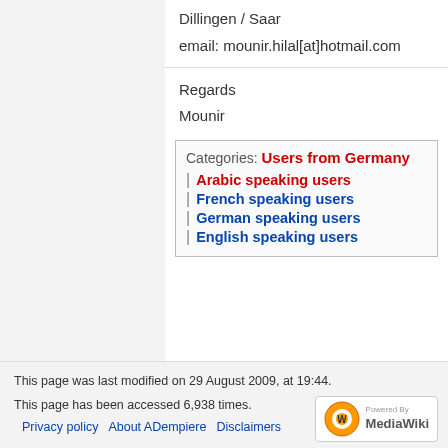Dillingen / Saar
email: mounir.hilal[at]hotmail.com
Regards
Mounir
Categories: Users from Germany | Arabic speaking users | French speaking users | German speaking users | English speaking users
This page was last modified on 29 August 2009, at 19:44.
This page has been accessed 6,938 times.
Privacy policy · About ADempiere · Disclaimers